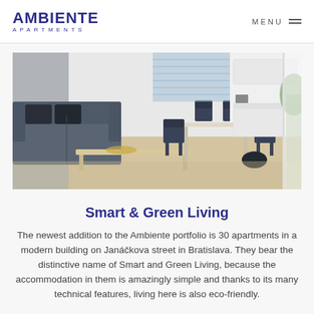AMBIENTE APARTMENTS | MENU
[Figure (photo): Interior photo of a modern apartment living and dining area with a grey sofa, wooden coffee table, dining chairs, and a white kitchen in the background with large windows and wooden flooring.]
Smart & Green Living
The newest addition to the Ambiente portfolio is 30 apartments in a modern building on Janáčkova street in Bratislava. They bear the distinctive name of Smart and Green Living, because the accommodation in them is amazingly simple and thanks to its many technical features, living here is also eco-friendly.